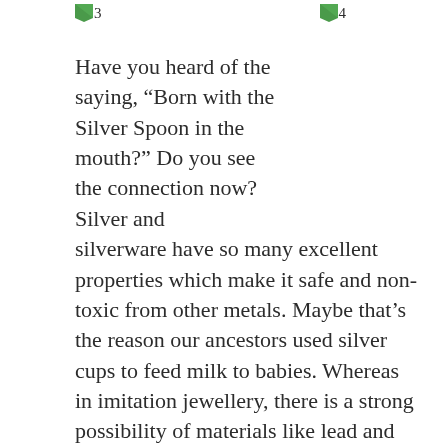3  4
Have you heard of the saying, “Born with the Silver Spoon in the mouth?” Do you see the connection now? Silver and silverware have so many excellent properties which make it safe and non-toxic from other metals. Maybe that’s the reason our ancestors used silver cups to feed milk to babies. Whereas in imitation jewellery, there is a strong possibility of materials like lead and cadmium that are highly dangerous because of